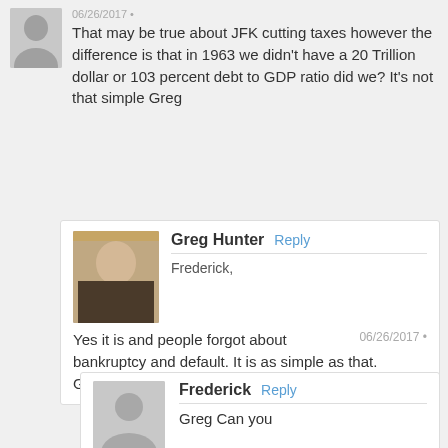06/26/2017 •
That may be true about JFK cutting taxes however the difference is that in 1963 we didn't have a 20 Trillion dollar or 103 percent debt to GDP ratio did we? It's not that simple Greg
[Figure (photo): Profile photo of Greg Hunter, a man in a suit smiling at the camera]
Greg Hunter Reply
Frederick,
Yes it is and people forgot about bankruptcy and default. It is as simple as that. Greg
06/26/2017 •
[Figure (photo): Generic gray avatar placeholder for Frederick]
Frederick Reply
Greg Can you